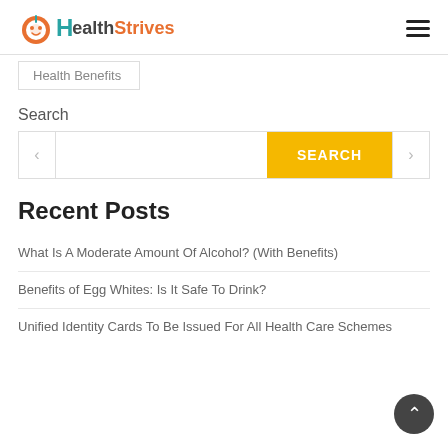HealthStrives
Health Benefits
Search
SEARCH
Recent Posts
What Is A Moderate Amount Of Alcohol? (With Benefits)
Benefits of Egg Whites: Is It Safe To Drink?
Unified Identity Cards To Be Issued For All Health Care Schemes